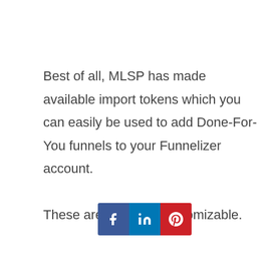Best of all, MLSP has made available import tokens which you can easily be used to add Done-For-You funnels to your Funnelizer account.

These are also fully customizable.
[Figure (other): Social sharing buttons row: Facebook (blue), LinkedIn (blue), Pinterest (red)]